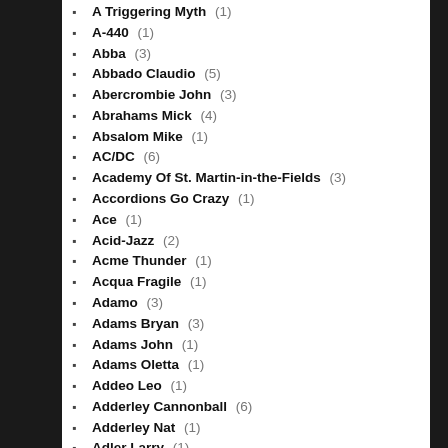A Triggering Myth (1)
A-440 (1)
Abba (3)
Abbado Claudio (5)
Abercrombie John (3)
Abrahams Mick (4)
Absalom Mike (1)
AC/DC (6)
Academy Of St. Martin-in-the-Fields (3)
Accordions Go Crazy (1)
Ace (1)
Acid-Jazz (2)
Acme Thunder (1)
Acqua Fragile (1)
Adamo (3)
Adams Bryan (3)
Adams John (1)
Adams Oletta (1)
Addeo Leo (1)
Adderley Cannonball (6)
Adderley Nat (1)
Adler Larry (1)